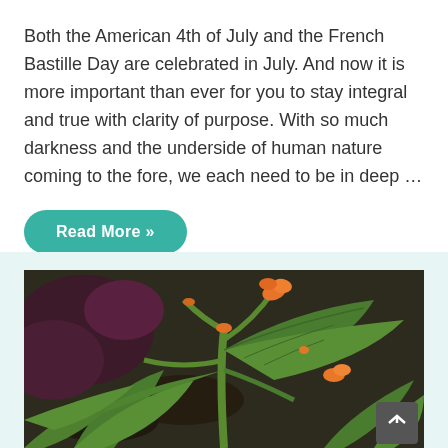Both the American 4th of July and the French Bastille Day are celebrated in July. And now it is more important than ever for you to stay integral and true with clarity of purpose. With so much darkness and the underside of human nature coming to the fore, we each need to be in deep ...
Read More »
[Figure (photo): A garden photo showing green squash or zucchini plants with large leaves and orange flowers, growing among dark soil and other foliage. A back-to-top arrow button is visible in the lower right corner.]